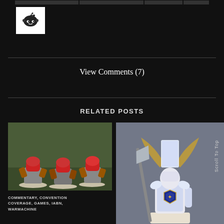[Figure (logo): Reddit alien logo icon in white square box]
View Comments (7)
RELATED POSTS
[Figure (photo): Three red and grey tabletop miniature robots/mechs on a green base]
[Figure (photo): A white and blue armored warrior miniature with large axe and banner, on grey background]
COMMENTARY, CONVENTION COVERAGE, GAMES, IABN, WARMACHINE
Scroll To Top